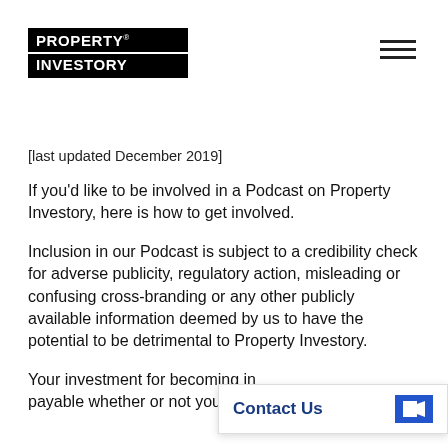[Figure (logo): Property Investory logo — white text on black background, two lines: PROPERTY and INVESTORY]
[Figure (other): Hamburger menu icon — three horizontal lines]
[last updated December 2019]
If you'd like to be involved in a Podcast on Property Investory, here is how to get involved.
Inclusion in our Podcast is subject to a credibility check for adverse publicity, regulatory action, misleading or confusing cross-branding or any other publicly available information deemed by us to have the potential to be detrimental to Property Investory.
Your investment for becoming in... payable whether or not your interview is published.
[Figure (other): Contact Us popup widget with blue text and video camera icon]